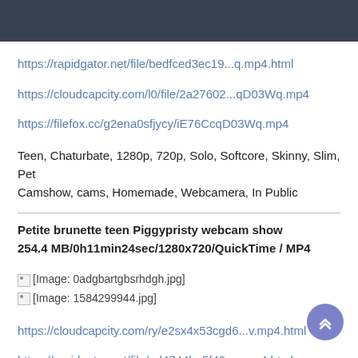https://rapidgator.net/file/bedfced3ec19...q.mp4.html
https://cloudcapcity.com/l0/file/2a27602...qD03Wq.mp4
https://filefox.cc/g2ena0sfjycy/iE76CcqD03Wq.mp4
Teen, Chaturbate, 1280p, 720p, Solo, Softcore, Skinny, Slim, Pet Camshow, cams, Homemade, Webcamera, In Public
Petite brunette teen Piggypristy webcam show 254.4 MB/0h11min24sec/1280x720/QuickTime / MP4
[Figure (photo): [Image: 0adgbartgbsrhdgh.jpg]]
[Figure (photo): [Image: 1584299944.jpg]]
https://cloudcapcity.com/ry/e2sx4x53cgd6...v.mp4.html
https://rapidgator.net/file/ed4744ba5f40...v.mp4.html